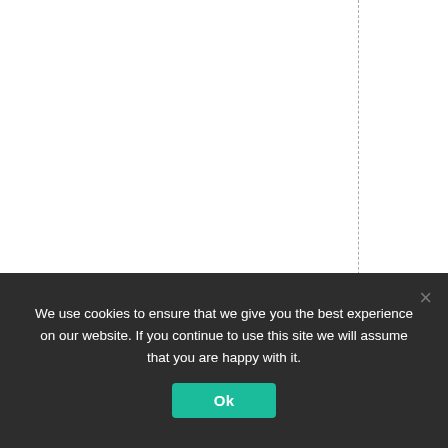[Figure (screenshot): Partial webpage screenshot showing a white background with two vertical dashed lines and a column of vertically-oriented text reading '-23pm Texas" ...isboom' where '-23pm' is in red/bold and the rest in dark color. A cookie consent banner overlays the bottom portion with text 'We use cookies to ensure that we give you the best experience on our website. If you continue to use this site we will assume that you are happy with it.' and an 'Ok' button.]
We use cookies to ensure that we give you the best experience on our website. If you continue to use this site we will assume that you are happy with it.